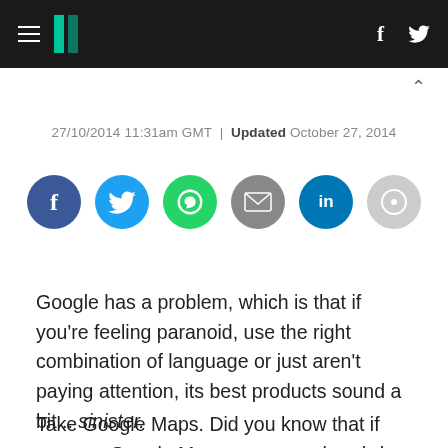HuffPost navigation bar with hamburger menu, logo, Facebook and Twitter icons
27/10/2014 11:31am GMT | Updated October 27, 2014
[Figure (infographic): Row of six social share buttons: Facebook (dark blue), Twitter (light blue), WhatsApp (green), Email (grey), LinkedIn (dark teal), Comments (light grey)]
Google has a problem, which is that if you're feeling paranoid, use the right combination of language or just aren't paying attention, its best products sound a bit... sinister.
Take Google Maps. Did you know that if you use Google Maps you may already be sending back